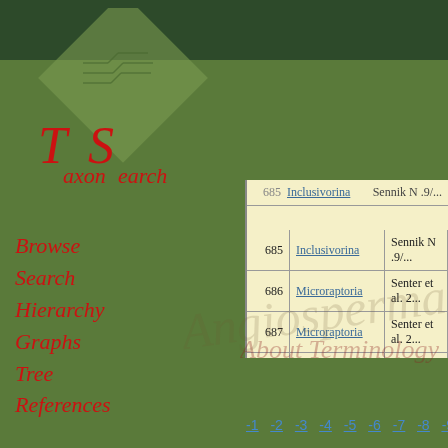[Figure (logo): TaxonSearch logo with diamond shape and red italic text on green background]
Browse
Search
Hierarchy
Graphs
Tree
References
| # | Name | Author |
| --- | --- | --- |
| 685 | Inclusivorina | Sennik N. 9/... |
| 686 | Microraptoria | Senter et al. 2... |
| 687 | Microraptoria | Senter et al. 2... |
| 688 | Microraptorridae | Senter et al. 2... |
| 689 | Microraptorinae | Senter et al. 2... |
| 690 | Ankylopollexia | Sereno 1986 |
-1 -2 -3 -4 -5 -6 -7 -8 -9 -10 -...